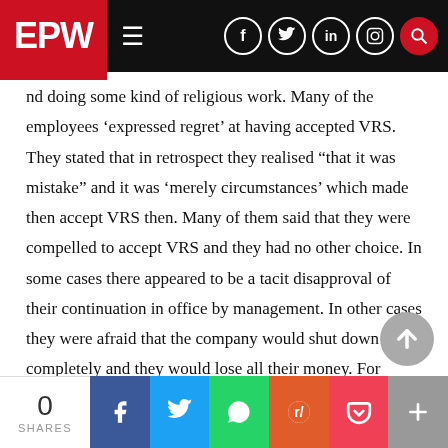EPW navigation bar with social icons
nd doing some kind of religious work. Many of the employees 'expressed regret' at having accepted VRS. They stated that in retrospect they realised “that it was mistake” and it was ‘merely circumstances’ which made then accept VRS then. Many of them said that they were compelled to accept VRS and they had no other choice. In some cases there appeared to be a tacit disapproval of their continuation in office by management. In other cases they were afraid that the company would shut down completely and they would lose all their money. For others, the amount of money to be received as compensation was a temptation as they needed it because of ‘some pressing needs’.

What is also significant is that no training for redeployment was
0 SHARES | Facebook | Twitter | WhatsApp | Reddit | Pocket | More